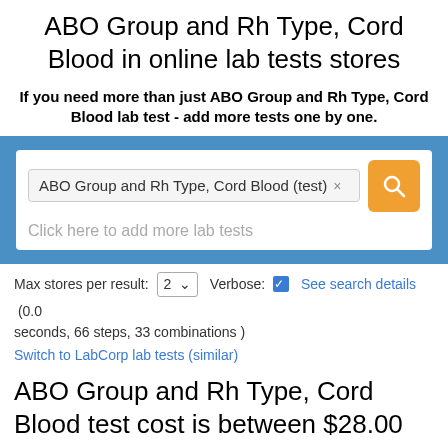ABO Group and Rh Type, Cord Blood in online lab tests stores
If you need more than just ABO Group and Rh Type, Cord Blood lab test - add more tests one by one.
[Figure (screenshot): Search bar with tag 'ABO Group and Rh Type, Cord Blood (test) ×', placeholder 'Click here to add more lab tests', and orange search button]
Max stores per result: 2  Verbose: ☑ See search details (0.0 seconds, 66 steps, 33 combinations )
Switch to LabCorp lab tests (similar)
ABO Group and Rh Type, Cord Blood test cost is between $28.00 and $85.00
Order   $28.00